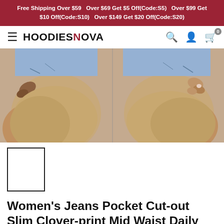Free Shipping Over $59   Over $69 Get $5 Off(Code:S5)   Over $99 Get $10 Off(Code:S10)   Over $149 Get $20 Off(Code:S20)
[Figure (logo): HoodiesNova navigation bar with hamburger menu, logo, search, account, and cart icons]
[Figure (photo): Close-up product photo of women's denim shorts showing two side-by-side views of the lower body/thigh area wearing light blue distressed jean shorts]
[Figure (photo): Small white thumbnail image placeholder with black border]
Women's Jeans Pocket Cut-out Slim Clover-print Mid Waist Daily Short